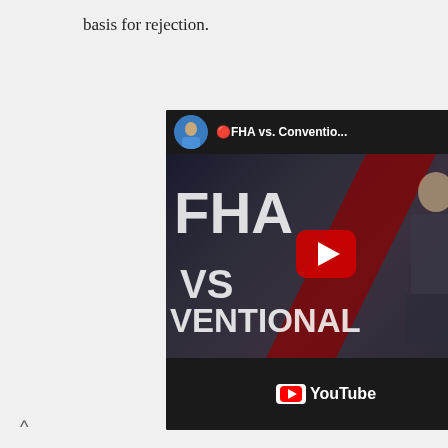basis for rejection.
[Figure (screenshot): Embedded YouTube video thumbnail showing 'FHA vs. Conventio...' video with a man in a blue jacket as the channel avatar, and large text reading 'FHA VS VENTIONAL' with a red play button in the center and YouTube logo at the bottom.]
^